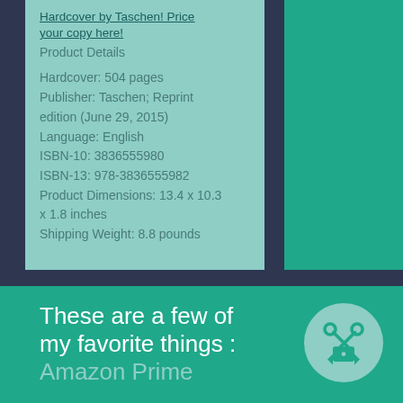Hardcover by Taschen! Price your copy here!
Product Details
Hardcover: 504 pages
Publisher: Taschen; Reprint edition (June 29, 2015)
Language: English
ISBN-10: 3836555980
ISBN-13: 978-3836555982
Product Dimensions: 13.4 x 10.3 x 1.8 inches
Shipping Weight: 8.8 pounds
0 COMMENTS
LEAVE A COMMENT
These are a few of my favorite things : Amazon Prime